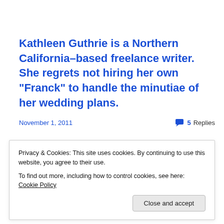Kathleen Guthrie is a Northern California–based freelance writer. She regrets not hiring her own “Franck” to handle the minutiae of her wedding plans.
November 1, 2011
5 Replies
Life Without Baby has Moved!
Privacy & Cookies: This site uses cookies. By continuing to use this website, you agree to their use.
To find out more, including how to control cookies, see here: Cookie Policy
Close and accept